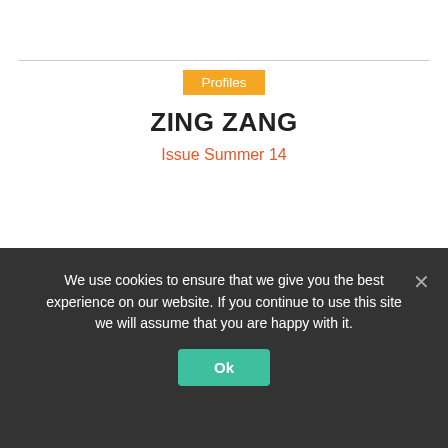Profiles
ZING ZANG
Issue Summer 14
The Bloody Mary was always one of the most difficult cocktails for the restaurant and bar industry because consistency in taste was difficult to achieve and it was time-consuming to...
We use cookies to ensure that we give you the best experience on our website. If you continue to use this site we will assume that you are happy with it.